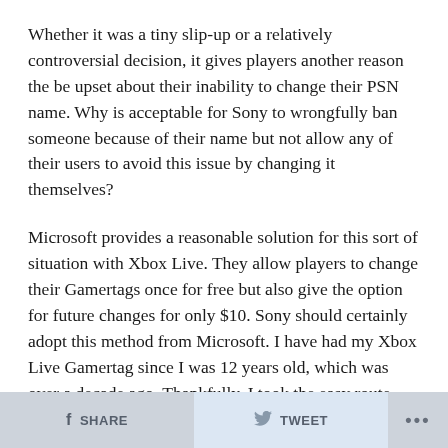Whether it was a tiny slip-up or a relatively controversial decision, it gives players another reason the be upset about their inability to change their PSN name. Why is acceptable for Sony to wrongfully ban someone because of their name but not allow any of their users to avoid this issue by changing it themselves?
Microsoft provides a reasonable solution for this sort of situation with Xbox Live. They allow players to change their Gamertags once for free but also give the option for future changes for only $10. Sony should certainly adopt this method from Microsoft. I have had my Xbox Live Gamertag since I was 12 years old, which was over a decade ago. Thankfully, I took the easy route and used the classic “first name and numbers” formula to construct
SHARE   TWEET   ...